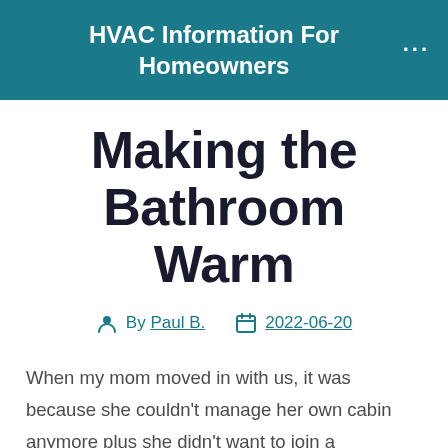HVAC Information For Homeowners
Making the Bathroom Warm
By Paul B.   2022-06-20
When my mom moved in with us, it was because she couldn't manage her own cabin anymore plus she didn't want to join a community.
My fiance plus I anticipated this would happen 1